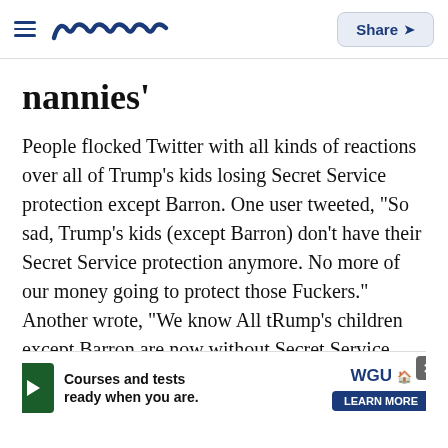meaww — Share
nannies'
People flocked Twitter with all kinds of reactions over all of Trump's kids losing Secret Service protection except Barron. One user tweeted, "So sad, Trump's kids (except Barron) don't have their Secret Service protection anymore. No more of our money going to protect those Fuckers." Another wrote, "We know All tRump's children except Barron are now without Secret Service. Don't worry, they'll find other ways to grift from the American people. #barrontrump." One user commented, "About dang time! I'm fine with Barron getting SS but the rest never should have had it in the first place..." [voice today a...]
[Figure (screenshot): Advertisement overlay for WGU: 'Courses and tests ready when you are.' with Learn More button and close (X) button]